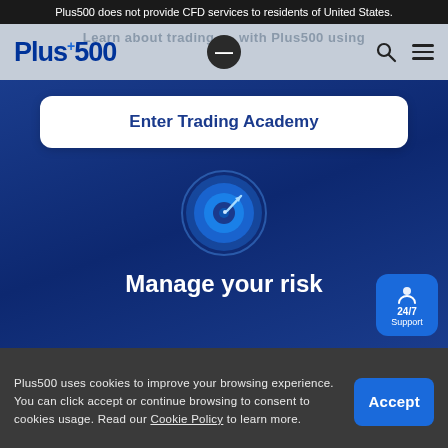Plus500 does not provide CFD services to residents of United States.
[Figure (logo): Plus500 logo with search and hamburger menu icons on a grey navigation bar. Faded text 'Learn about trading with Plus500 using' visible behind a dark circle minus button.]
Enter Trading Academy
[Figure (illustration): Circular target/bullseye icon with a dart arrow, rendered in blue tones on a dark blue background]
Manage your risk
Plus500 uses cookies to improve your browsing experience. You can click accept or continue browsing to consent to cookies usage. Read our Cookie Policy to learn more.